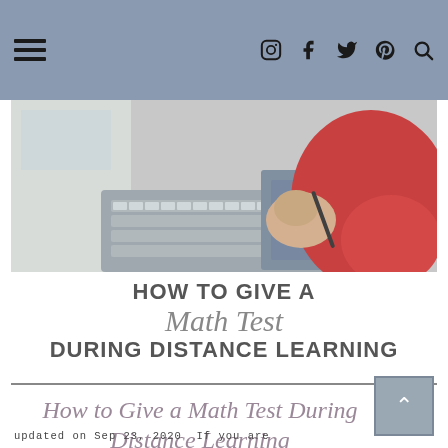Navigation header with hamburger menu and social icons (Instagram, Facebook, Twitter, Pinterest, Search)
[Figure (photo): Person using a laptop and drawing tablet, wearing a red sweater, with hands visible on the keyboard/stylus area]
[Figure (infographic): Infographic title reading: HOW TO GIVE A / Math Test / DURING DISTANCE LEARNING]
How to Give a Math Test During Distance Learning
updated on Sep 23, 2020 If you are